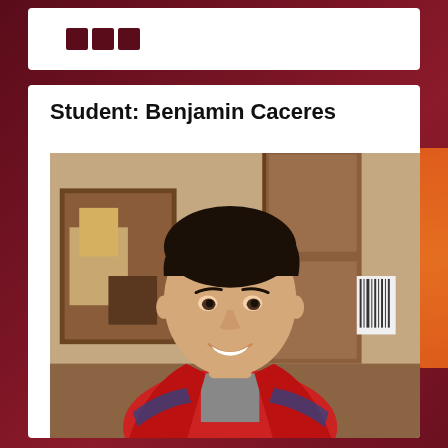Student: Benjamin Caceres
[Figure (photo): Portrait photo of a young man (Benjamin Caceres) smiling, wearing a red jacket with plaid flannel, standing in front of a wooden door and abstract wall art.]